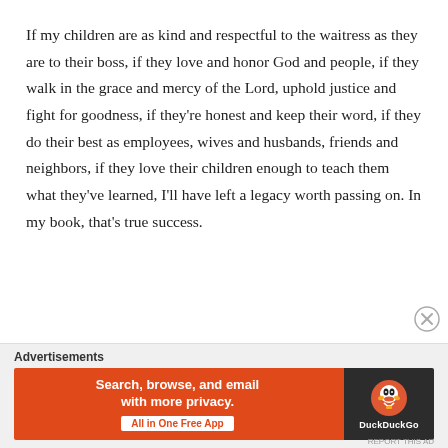If my children are as kind and respectful to the waitress as they are to their boss, if they love and honor God and people, if they walk in the grace and mercy of the Lord, uphold justice and fight for goodness, if they're honest and keep their word, if they do their best as employees, wives and husbands, friends and neighbors, if they love their children enough to teach them what they've learned, I'll have left a legacy worth passing on. In my book, that's true success.
Advertisements
[Figure (other): DuckDuckGo advertisement banner: orange background on left with text 'Search, browse, and email with more privacy. All in One Free App', dark background on right with DuckDuckGo logo and brand name.]